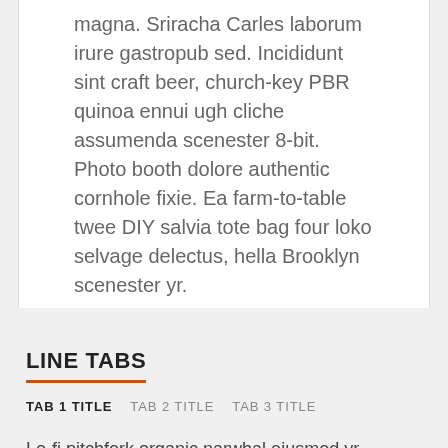magna. Sriracha Carles laborum irure gastropub sed. Incididunt sint craft beer, church-key PBR quinoa ennui ugh cliche assumenda scenester 8-bit. Photo booth dolore authentic cornhole fixie. Ea farm-to-table twee DIY salvia tote bag four loko selvage delectus, hella Brooklyn scenester yr.
LINE TABS
TAB 1 TITLE   TAB 2 TITLE   TAB 3 TITLE
Lo-fi pitchfork organic narwhal eiusmod yr magna.